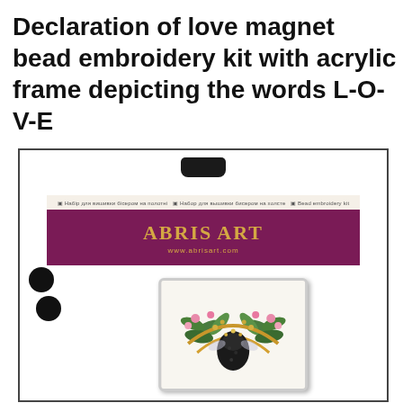Declaration of love magnet bead embroidery kit with acrylic frame depicting the words L-O-V-E
[Figure (photo): Product photo of an Abris Art bead embroidery kit in plastic packaging. The packaging shows the brand name ABRIS ART on a purple/magenta banner with gold lettering and website www.abrisart.com. The kit contains an acrylic magnet frame with a completed bead embroidery design showing a bird or bee surrounded by green leaves and pink flowers. Black circular magnets are visible inside the packaging.]